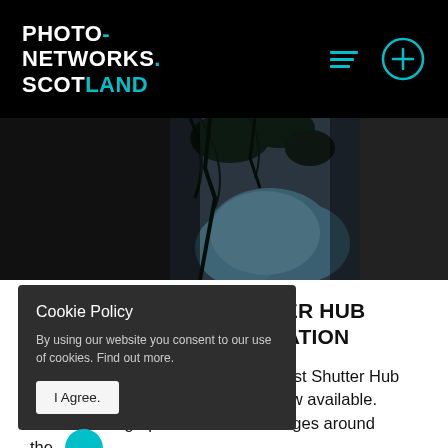PHOTO-NETWORKS.SCOTLAND
[Figure (photo): Dark hero image showing a photographic scene with dark tones, foliage and blue-toned elements on a dark background]
POETRY – A SHUTTER HUB EDITIONS PUBLICATION
We are extremely excited that the first Shutter Hub Editions publication, POETRY, is now available. Invited photographers to submit images around the...
Cookie Policy

By using our website you consent to our use of cookies. Find out more.

I Agree.